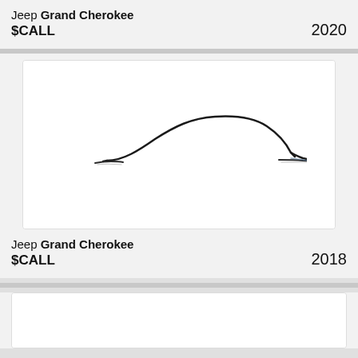Jeep Grand Cherokee $CALL 2020
[Figure (illustration): Minimalist side-profile silhouette outline drawing of a sedan/SUV car (Jeep Grand Cherokee) in black ink on white background]
Jeep Grand Cherokee $CALL 2018
[Figure (photo): Partial view of another vehicle listing card at the bottom, white image area visible]